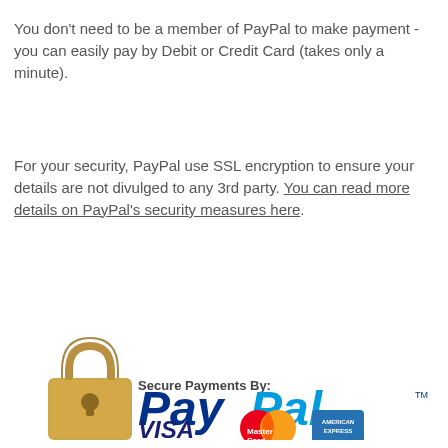You don't need to be a member of PayPal to make payment - you can easily pay by Debit or Credit Card (takes only a minute).
For your security, PayPal use SSL encryption to ensure your details are not divulged to any 3rd party. You can read more details on PayPal's security measures here.
[Figure (logo): Secure Payments By PayPal logo with padlock icon, VISA, MasterCard, and American Express card logos below]